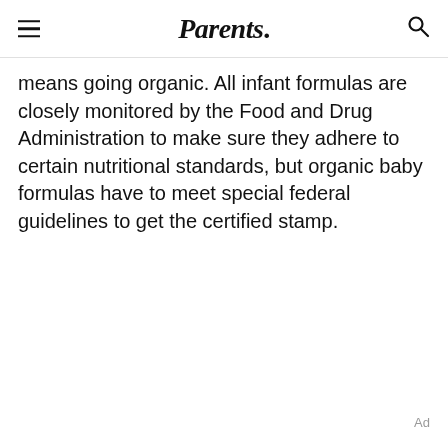Parents.
means going organic. All infant formulas are closely monitored by the Food and Drug Administration to make sure they adhere to certain nutritional standards, but organic baby formulas have to meet special federal guidelines to get the certified stamp.
Ad